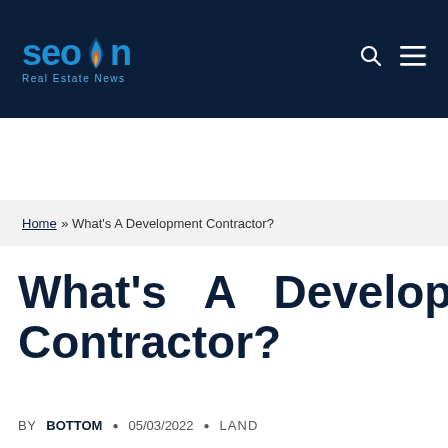SEON Real Estate News
Home » What's A Development Contractor?
What's A Development Contractor?
BY BOTTOM • 05/03/2022 • LAND